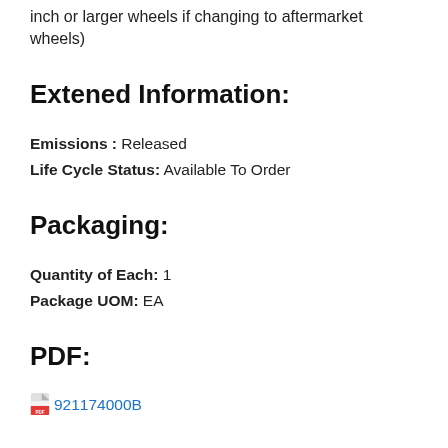inch or larger wheels if changing to aftermarket wheels)
Extened Information:
Emissions : Released
Life Cycle Status: Available To Order
Packaging:
Quantity of Each: 1
Package UOM: EA
PDF:
921174000B